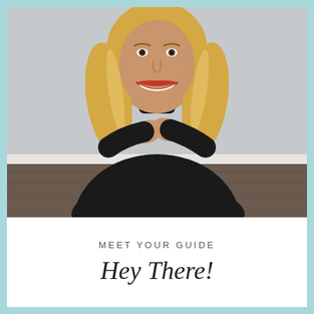[Figure (photo): A smiling blonde woman wearing a black turtleneck sweater, sitting cross-legged on a wooden floor against a light gray wall, with hands clasped near her chest. She is wearing rings and has wavy hair, with red lipstick.]
MEET YOUR GUIDE
Hey There!